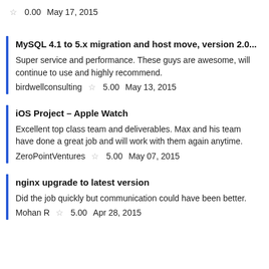☆ 0.00   May 17, 2015
MySQL 4.1 to 5.x migration and host move, version 2.0...
Super service and performance. These guys are awesome, will continue to use and highly recommend.
birdwellconsulting   ☆ 5.00   May 13, 2015
iOS Project - Apple Watch
Excellent top class team and deliverables. Max and his team have done a great job and will work with them again anytime.
ZeroPointVentures   ☆ 5.00   May 07, 2015
nginx upgrade to latest version
Did the job quickly but communication could have been better.
Mohan R   ☆ 5.00   Apr 28, 2015